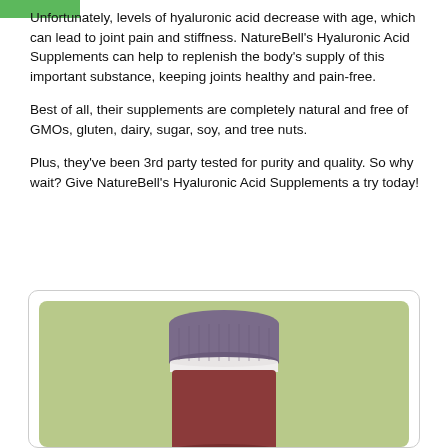Unfortunately, levels of hyaluronic acid decrease with age, which can lead to joint pain and stiffness. NatureBell's Hyaluronic Acid Supplements can help to replenish the body's supply of this important substance, keeping joints healthy and pain-free.
Best of all, their supplements are completely natural and free of GMOs, gluten, dairy, sugar, soy, and tree nuts.
Plus, they've been 3rd party tested for purity and quality. So why wait? Give NatureBell's Hyaluronic Acid Supplements a try today!
[Figure (photo): A supplement bottle with a purple/dark brown cap on a sage green background, shown from above (cap and top of bottle visible).]